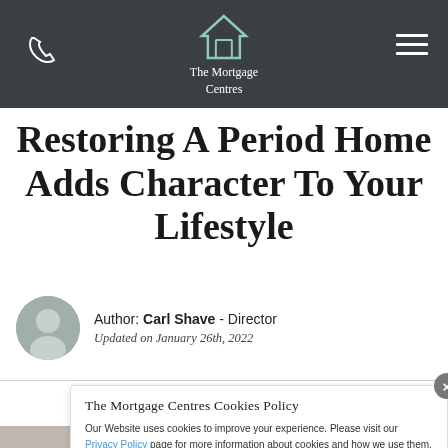The Mortgage Centres
Restoring A Period Home Adds Character To Your Lifestyle
Author: Carl Shave - Director
Updated on January 26th, 2022
The Mortgage Centres Cookies Policy
Our Website uses cookies to improve your experience. Please visit our Privacy Policy page for more information about cookies and how we use them.